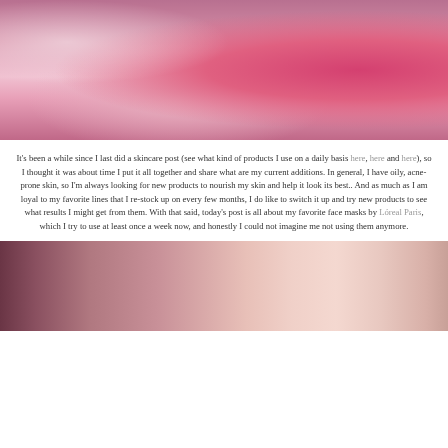[Figure (photo): Woman in a bright pink/red dress sitting on a floral bed with skincare products on a wooden tray in the background]
It's been a while since I last did a skincare post (see what kind of products I use on a daily basis here, here and here), so I thought it was about time I put it all together and share what are my current additions. In general, I have oily, acne-prone skin, so I'm always looking for new products to nourish my skin and help it look its best.. And as much as I am loyal to my favorite lines that I re-stock up on every few months, I do like to switch it up and try new products to see what results I might get from them. With that said, today's post is all about my favorite face masks by Lóreal Paris, which I try to use at least once a week now, and honestly I could not imagine me not using them anymore.
[Figure (photo): Close-up of skincare products with pink and rose tones background]